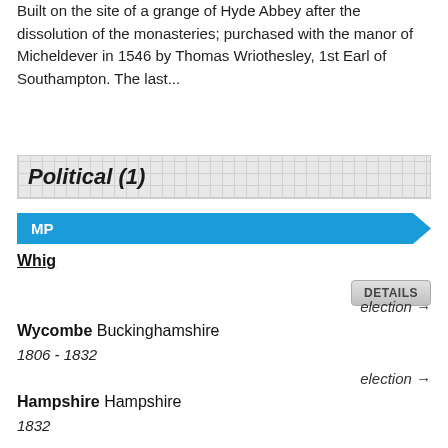Built on the site of a grange of Hyde Abbey after the dissolution of the monasteries; purchased with the manor of Micheldever in 1546 by Thomas Wriothesley, 1st Earl of Southampton. The last...
Political (1)
MP
Whig
DETAILS
election →
Wycombe Buckinghamshire
1806 - 1832
election →
Hampshire Hampshire
1832